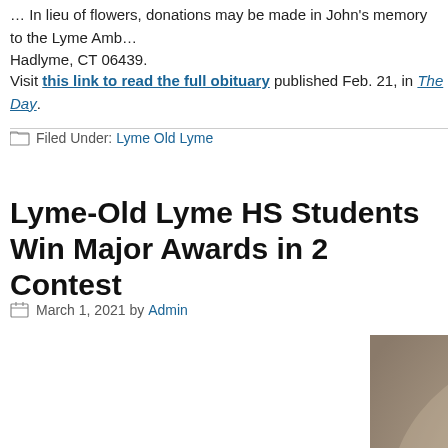… In lieu of flowers, donations may be made in John's memory to the Lyme Ambulance, Hadlyme, CT 06439.
Visit this link to read the full obituary published Feb. 21, in The Day.
Filed Under: Lyme Old Lyme
Lyme-Old Lyme HS Students Win Major Awards in 2 Contest
March 1, 2021 by Admin
[Figure (photo): Sepia-toned portrait photograph of a young woman with curly dark hair, looking to the side, holding a small white cat or kitten near her chin.]